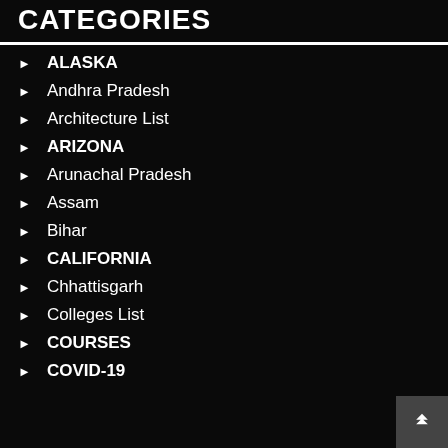CATEGORIES
ALASKA
Andhra Pradesh
Architecture List
ARIZONA
Arunachal Pradesh
Assam
Bihar
CALIFORNIA
Chhattisgarh
Colleges List
COURSES
COVID-19